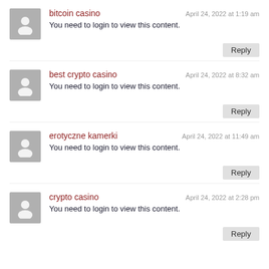bitcoin casino — April 24, 2022 at 1:19 am
You need to login to view this content.
best crypto casino — April 24, 2022 at 8:32 am
You need to login to view this content.
erotyczne kamerki — April 24, 2022 at 11:49 am
You need to login to view this content.
crypto casino — April 24, 2022 at 2:28 pm
You need to login to view this content.